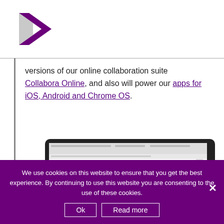[Figure (logo): Collabora purple arrow/chevron logo]
versions of our online collaboration suite Collabora Online, and also will power our apps for iOS, Android and Chrome OS.
[Figure (screenshot): Screenshot of Collabora Office 22.05 document editor on a tablet, showing the heading 'Collabora Office 22.05', subtitle 'The enterprise-ready edition of LibreOffice', and document body text about LTS support and Support and Services.]
We use cookies on this website to ensure that you get the best experience. By continuing to use this website you are consenting to the use of these cookies.